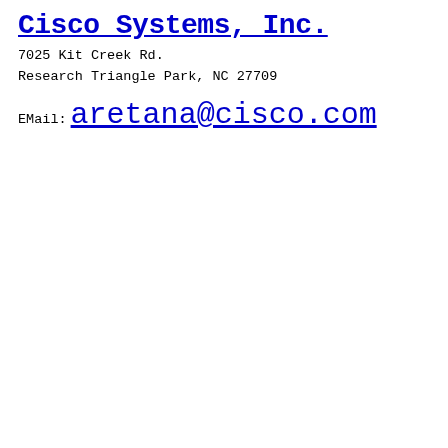Cisco Systems, Inc.
7025 Kit Creek Rd.
Research Triangle Park, NC 27709
EMail: aretana@cisco.com